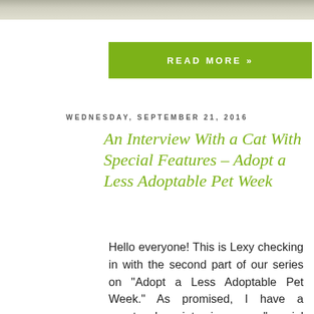[Figure (photo): Partial photo strip at top of page showing a cat or animal, cropped]
READ MORE »
WEDNESDAY, SEPTEMBER 21, 2016
An Interview With a Cat With Special Features – Adopt a Less Adoptable Pet Week
Hello everyone! This is Lexy checking in with the second part of our series on "Adopt a Less Adoptable Pet Week." As promised, I have a spectacular interview a "special needs" cat. I'm